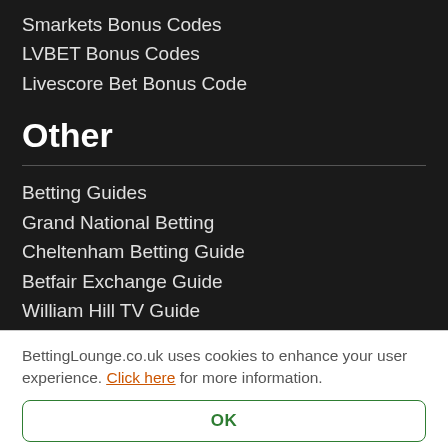Smarkets Bonus Codes
LVBET Bonus Codes
Livescore Bet Bonus Code
Other
Betting Guides
Grand National Betting
Cheltenham Betting Guide
Betfair Exchange Guide
William Hill TV Guide
William Hill Radio Guide
Dancing on Ice Betting
Strictly Come Dancing Betting
BettingLounge.co.uk uses cookies to enhance your user experience. Click here for more information.
OK